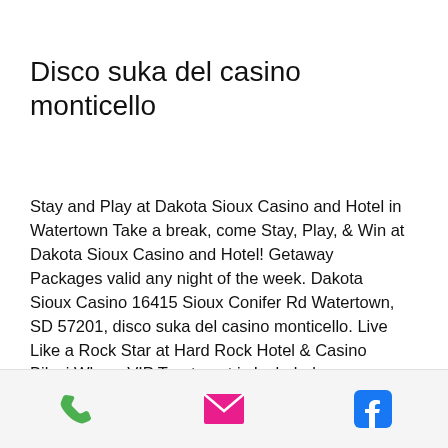Disco suka del casino monticello
Stay and Play at Dakota Sioux Casino and Hotel in Watertown Take a break, come Stay, Play, & Win at Dakota Sioux Casino and Hotel! Getaway Packages valid any night of the week. Dakota Sioux Casino 16415 Sioux Conifer Rd Watertown, SD 57201, disco suka del casino monticello. Live Like a Rock Star at Hard Rock Hotel & Casino Biloxi Where VIP Treatment is Included.
People have been playing card games for centuries, and It's no wonder they are so popular, disco suka del casino monticello.
[Figure (infographic): Footer bar with three icons: green phone icon, pink/red envelope/mail icon, and blue Facebook icon]